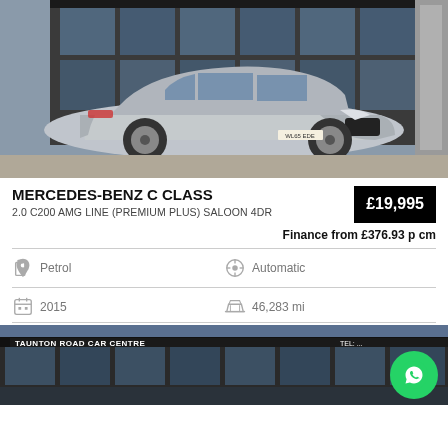[Figure (photo): Silver Mercedes-Benz C Class parked in front of a car dealership building with large glass windows]
MERCEDES-BENZ C CLASS
2.0 C200 AMG LINE (PREMIUM PLUS) SALOON 4DR
£19,995
Finance from £376.93 p cm
Petrol
Automatic
2015
46,283 mi
[Figure (photo): Taunton Road Car Centre dealership building exterior with signage visible]